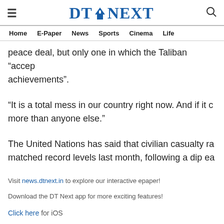DT NEXT
Home  E-Paper  News  Sports  Cinema  Life
peace deal, but only one in which the Taliban "accep achievements".
"It is a total mess in our country right now. And if it c more than anyone else."
The United Nations has said that civilian casualty ra matched record levels last month, following a dip ea
Visit news.dtnext.in to explore our interactive epaper!
Download the DT Next app for more exciting features!
Click here for iOS
Click here for Android